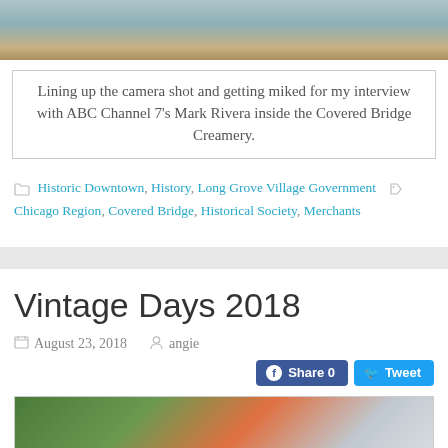[Figure (photo): Top portion of a photo inside the Covered Bridge Creamery, showing interior shelving and a person]
Lining up the camera shot and getting miked for my interview with ABC Channel 7's Mark Rivera inside the Covered Bridge Creamery.
Historic Downtown, History, Long Grove Village Government   Chicago Region, Covered Bridge, Historical Society, Merchants
Vintage Days 2018
August 23, 2018   angie
[Figure (photo): Bottom portion of a photo from Vintage Days 2018, showing outdoor scene with trees and a flag]